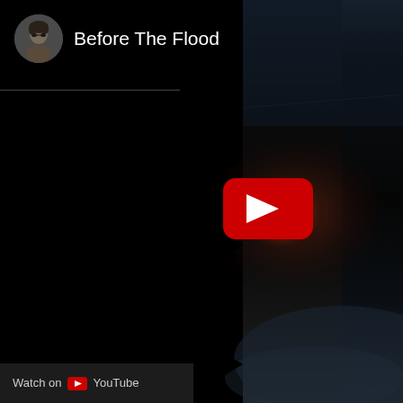[Figure (screenshot): YouTube video thumbnail screenshot showing a dark/black background on the left side with a jagged orange/flame-like pattern in the center, and an orange glowing orb with a red YouTube play button in the center-right area. The right side shows dark blue/grey tones resembling water or sky.]
Before The Flood
Watch on YouTube